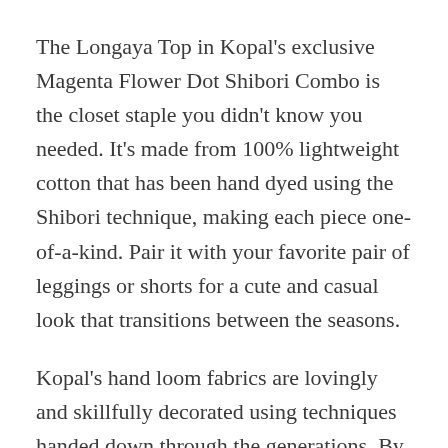The Longaya Top in Kopal's exclusive Magenta Flower Dot Shibori Combo is the closet staple you didn't know you needed. It's made from 100% lightweight cotton that has been hand dyed using the Shibori technique, making each piece one-of-a-kind. Pair it with your favorite pair of leggings or shorts for a cute and casual look that transitions between the seasons.
Kopal's hand loom fabrics are lovingly and skillfully decorated using techniques handed down through the generations. By enjoying your Kopal garments, you are contributing to the sustainability of these traditions and keeping this ancient craft alive. The nature of these techniques may result in minor irregularities in the color and print, which only add to the beauty and uniqueness of each